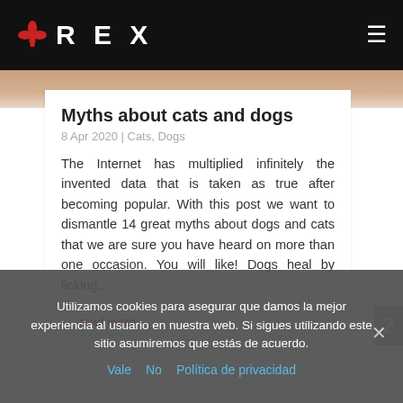REX
[Figure (photo): Partial photo of a cat or dog, warm brown tones, cropped at top of article card]
Myths about cats and dogs
8 Apr 2020  |  Cats, Dogs
The Internet has multiplied infinitely the invented data that is taken as true after becoming popular. With this post we want to dismantle 14 great myths about dogs and cats that we are sure you have heard on more than one occasion. You will like! Dogs heal by licking...
read more
2
Utilizamos cookies para asegurar que damos la mejor experiencia al usuario en nuestra web. Si sigues utilizando este sitio asumiremos que estás de acuerdo.
Vale  No  Política de privacidad